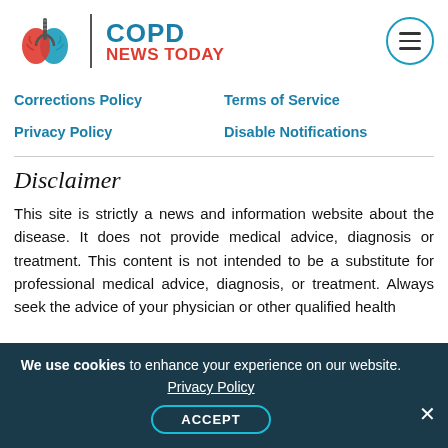[Figure (logo): COPD News Today logo with lung illustration, red and teal colors, and hamburger menu icon]
Corrections Policy
Terms of Service
Privacy Policy
Disable Notifications
Disclaimer
This site is strictly a news and information website about the disease. It does not provide medical advice, diagnosis or treatment. This content is not intended to be a substitute for professional medical advice, diagnosis, or treatment. Always seek the advice of your physician or other qualified health
We use cookies to enhance your experience on our website. Privacy Policy ACCEPT